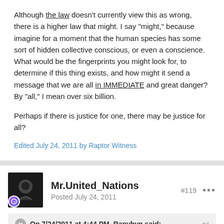Although the law doesn't currently view this as wrong, there is a higher law that might. I say "might," because imagine for a moment that the human species has some sort of hidden collective conscious, or even a conscience. What would be the fingerprints you might look for, to determine if this thing exists, and how might it send a message that we are all in IMMEDIATE and great danger? By "all," I mean over six billion.

Perhaps if there is justice for one, there may be justice for all?
Edited July 24, 2011 by Raptor Witness
Mr.United_Nations
Posted July 24, 2011
#119
On 7/24/2011 at 4:44 PM, Ranyhyn said:
Well, I'm not gonna pretend like I care about people purely because they were from the same country as me. They might as well be from another planet for all I care. Yes it's sad that they